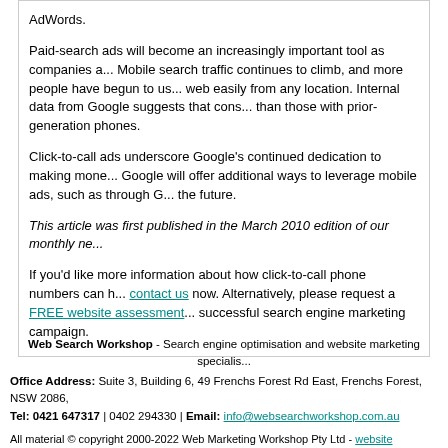AdWords.
Paid-search ads will become an increasingly important tool as companies a... Mobile search traffic continues to climb, and more people have begun to us... web easily from any location. Internal data from Google suggests that cons... than those with prior-generation phones.
Click-to-call ads underscore Google's continued dedication to making mone... Google will offer additional ways to leverage mobile ads, such as through G... the future.
This article was first published in the March 2010 edition of our monthly ne...
If you'd like more information about how click-to-call phone numbers can h... contact us now. Alternatively, please request a FREE website assessment ... successful search engine marketing campaign.
Web Search Workshop - Search engine optimisation and website marketing specialis... Office Address: Suite 3, Building 6, 49 Frenchs Forest Rd East, Frenchs Forest, NSW 2086, Tel: 0421 647317 | 0402 294330 | Email: info@websearchworkshop.com.au All material © copyright 2000-2022 Web Marketing Workshop Pty Ltd - website marketing con... The Web Search Workshop is a trading name of Web Marketing Workshop Pty Ltd (ABN 49 1... Google AdWords management | Google AdWords training | SEO training courses | Website an... We also provide website optimisation and PPC advertising management from the UK...